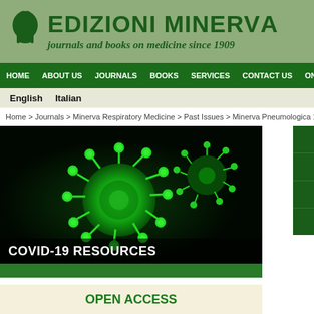[Figure (logo): Edizioni Minerva Medica header banner with Minerva helmet logo, title 'EDIZIONI MINERVA' and subtitle 'journals and books on medicine since 1909']
HOME  ABOUT US  JOURNALS  BOOKS  SERVICES  CONTACT US  ONL
English  Italian
Home > Journals > Minerva Respiratory Medicine > Past Issues > Minerva Pneumologica 1999 J...
[Figure (photo): Green coronavirus microscopy image with COVID-19 RESOURCES label overlay]
[Figure (infographic): Dropdown menu with options: ISSUES AND ARTICLES+, ABOUT THIS JOURNAL+, FOR AUTHORS +, SUBSCRIBE +]
OPEN ACCESS
YOUR ACCOUNT
Update your registration details